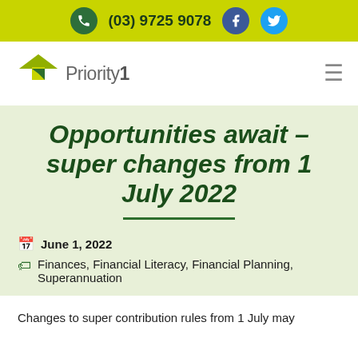(03) 9725 9078
[Figure (logo): Priority1 logo with stylized green bird/arrow graphic above text 'Priority1']
Opportunities await – super changes from 1 July 2022
June 1, 2022
Finances, Financial Literacy, Financial Planning, Superannuation
Changes to super contribution rules from 1 July may